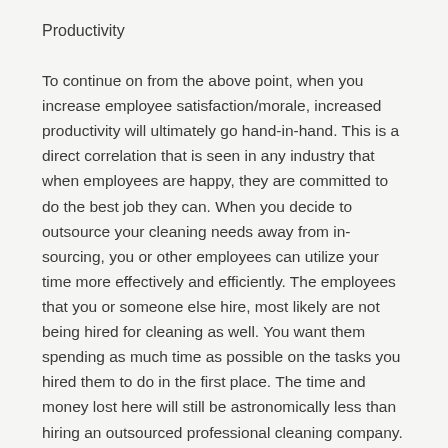Productivity
To continue on from the above point, when you increase employee satisfaction/morale, increased productivity will ultimately go hand-in-hand. This is a direct correlation that is seen in any industry that when employees are happy, they are committed to do the best job they can. When you decide to outsource your cleaning needs away from in-sourcing, you or other employees can utilize your time more effectively and efficiently. The employees that you or someone else hire, most likely are not being hired for cleaning as well. You want them spending as much time as possible on the tasks you hired them to do in the first place. The time and money lost here will still be astronomically less than hiring an outsourced professional cleaning company. Professional cleaners have the proper equipment, products and knowledge to get the job done